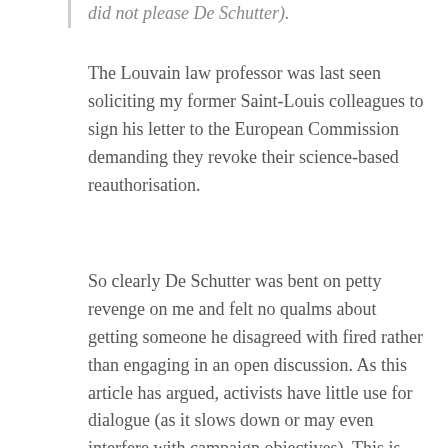did not please De Schutter).
The Louvain law professor was last seen soliciting my former Saint-Louis colleagues to sign his letter to the European Commission demanding they revoke their science-based reauthorisation.
So clearly De Schutter was bent on petty revenge on me and felt no qualms about getting someone he disagreed with fired rather than engaging in an open discussion. As this article has argued, activists have little use for dialogue (as it slows down or may even interfere with campaign objectives). This is also the case for wily academic activists like De Schutter. As NGOs are funding more academic centres, I wonder how many academics are being pressured by groups or activists with no ethical codes of conduct or respect for